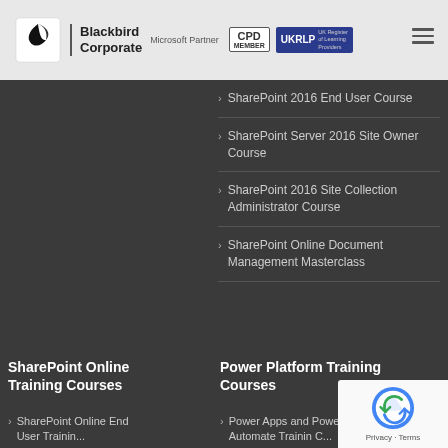[Figure (logo): Blackbird Corporate logo with bird icon and Microsoft Partner text, alongside CPD Member and UKRLP badges]
SharePoint 2016 End User Course
SharePoint Server 2016 Site Owner Course
SharePoint 2016 Site Collection Administrator Course
SharePoint Online Document Management Masterclass
SharePoint Online Training Courses
Power Platform Training Courses
SharePoint Online End User Training...
Power Apps and Power Automate Training C...